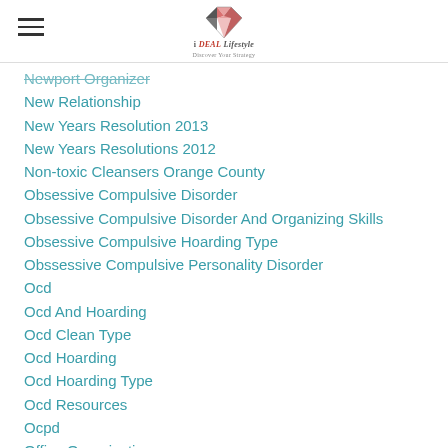iDEAL Lifestyle - Discover Your Strategy
Newport Organizer
New Relationship
New Years Resolution 2013
New Years Resolutions 2012
Non-toxic Cleansers Orange County
Obsessive Compulsive Disorder
Obsessive Compulsive Disorder And Organizing Skills
Obsessive Compulsive Hoarding Type
Obssessive Compulsive Personality Disorder
Ocd
Ocd And Hoarding
Ocd Clean Type
Ocd Hoarding
Ocd Hoarding Type
Ocd Resources
Ocpd
Office Organization